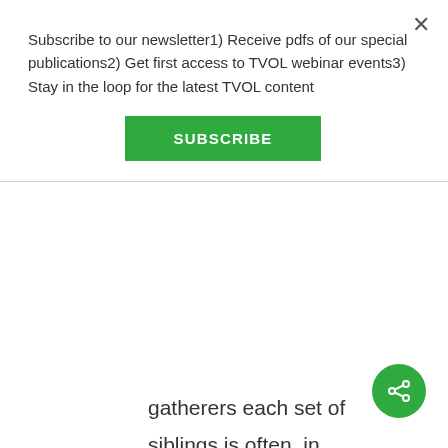Subscribe to our newsletter1) Receive pdfs of our special publications2) Get first access to TVOL webinar events3) Stay in the loop for the latest TVOL content
SUBSCRIBE
gatherers each set of siblings is often, in adulthood, scattered among many different camping parties over hundreds of square miles. The individual man or woman forming a married